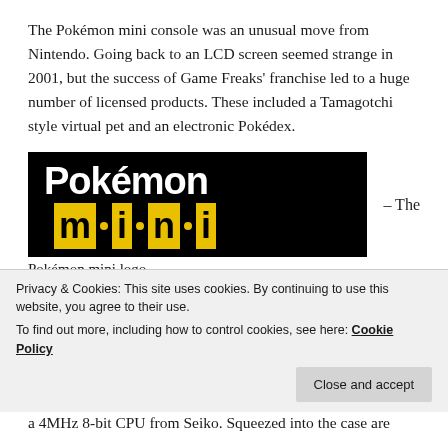The Pokémon mini console was an unusual move from Nintendo. Going back to an LCD screen seemed strange in 2001, but the success of Game Freaks' franchise led to a huge number of licensed products. These included a Tamagotchi style virtual pet and an electronic Pokédex.
[Figure (logo): Pokémon mini logo on black background — 'Pokémon' in white bold text, 'mini' in yellow bold characters with dots between letters]
– The Pokémon mini logo
There were three varieties of Pokémon mini, matching the colour of its shell with three Pokémon from the later
a 4MHz 8-bit CPU from Seiko. Squeezed into the case are
Privacy & Cookies: This site uses cookies. By continuing to use this website, you agree to their use.
To find out more, including how to control cookies, see here: Cookie Policy